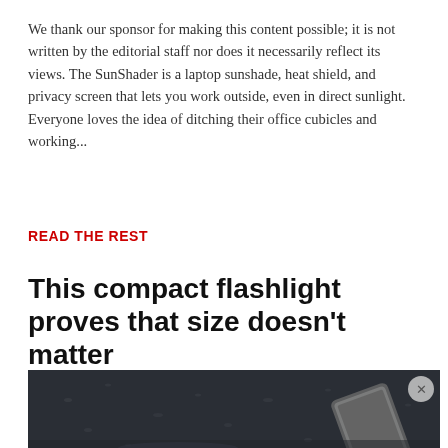We thank our sponsor for making this content possible; it is not written by the editorial staff nor does it necessarily reflect its views. The SunShader is a laptop sunshade, heat shield, and privacy screen that lets you work outside, even in direct sunlight. Everyone loves the idea of ditching their office cubicles and working...
READ THE REST
This compact flashlight proves that size doesn't matter
[Figure (photo): Dark background photo showing a wet surface with a phone/flashlight device, water droplets visible]
[Figure (screenshot): Ad panel: CarMax logo with text 'We're Open and Here to Help' and 'CarMax', blue diamond arrow button, report an ad link, and media controls]